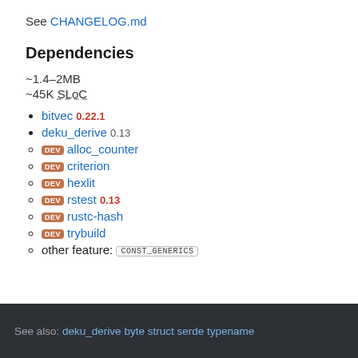See CHANGELOG.md
Dependencies
~1.4–2MB
~45K SLoC
bitvec 0.22.1
deku_derive 0.13
DEV alloc_counter
DEV criterion
DEV hexlit
DEV rstest 0.13
DEV rustc-hash
DEV trybuild
other feature: CONST_GENERICS
See also: deku_derive byte struct serde typename